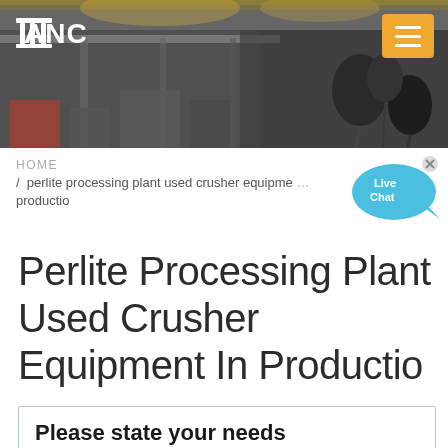[Figure (photo): Industrial factory/warehouse interior with overhead cranes and machinery; microphones visible on right side; dark background with yellow overhead lighting. ANC logo and hamburger menu button overlaid.]
HOME / perlite processing plant used crusher equipment productio
Perlite Processing Plant Used Crusher Equipment In Productio
Please state your needs